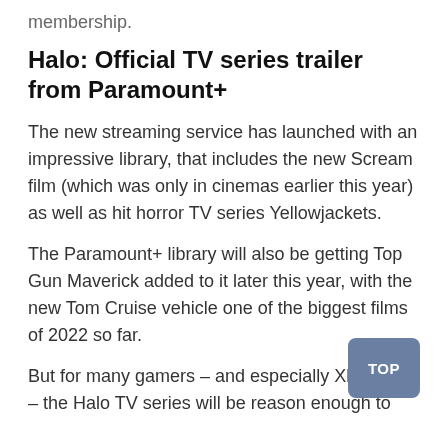membership.
Halo: Official TV series trailer from Paramount+
The new streaming service has launched with an impressive library, that includes the new Scream film (which was only in cinemas earlier this year) as well as hit horror TV series Yellowjackets.
The Paramount+ library will also be getting Top Gun Maverick added to it later this year, with the new Tom Cruise vehicle one of the biggest films of 2022 so far.
But for many gamers – and especially Xbox fans – the Halo TV series will be reason enough to